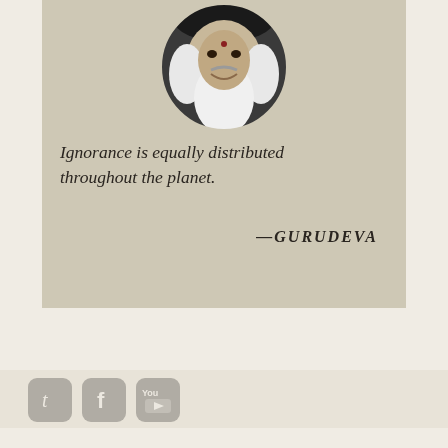[Figure (photo): Circular black-and-white portrait of an elderly man with long white hair and beard, wearing a dark hat, with a dot (bindi) on his forehead, smiling gently.]
Ignorance is equally distributed throughout the planet.
—GURUDEVA
[Figure (other): Social media icon bar with Twitter (t), Facebook (f), and YouTube (You) icons in rounded grey squares.]